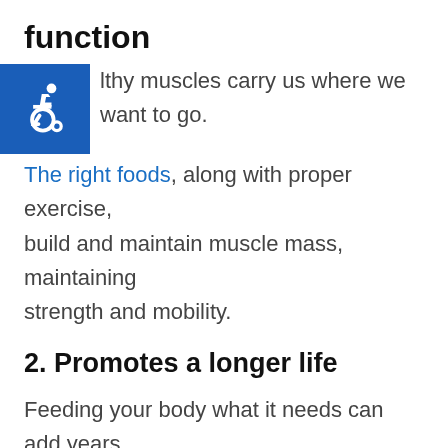function
[Figure (illustration): Blue square icon with white wheelchair accessibility symbol]
Healthy muscles carry us where we want to go. The right foods, along with proper exercise, build and maintain muscle mass, maintaining strength and mobility.
2. Promotes a longer life
Feeding your body what it needs can add years to your life. Reducing stress is one way to promote health, and a healthy diet is another. Foods rich in minerals and vitamins build up every cell in your body, preparing it to fight illness and stay alive longer.